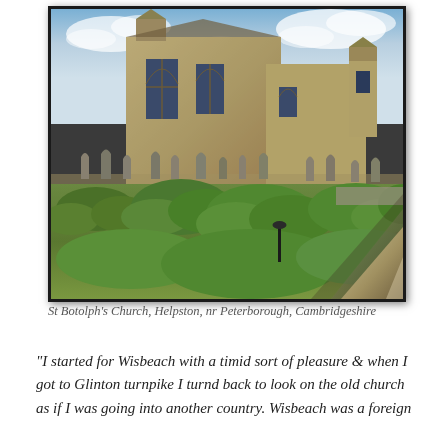[Figure (photo): Photograph of St Botolph's Church in Helpston, near Peterborough, Cambridgeshire. Stone church building with Gothic windows, surrounded by a graveyard with numerous headstones, and lush green vegetation in the foreground. The image has a page-curl effect in the bottom-right corner.]
St Botolph's Church, Helpston, nr Peterborough, Cambridgeshire
“I started for Wisbeach with a timid sort of pleasure & when I got to Glinton turnpike I turnd back to look on the old church as if I was going into another country. Wisbeach was a foreign